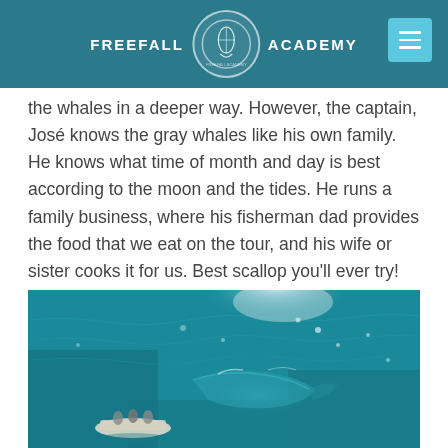FREEFALL ACADEMY
the whales in a deeper way. However, the captain, José knows the gray whales like his own family. He knows what time of month and day is best according to the moon and the tides. He runs a family business, where his fisherman dad provides the food that we eat on the tour, and his wife or sister cooks it for us. Best scallop you'll ever try!
[Figure (photo): Aerial view of turquoise ocean water with a whale visible beneath the surface near a small boat with people on it]